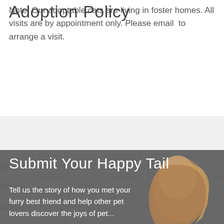Adoption Policy
Note: Our adoptable cats are living in foster homes. All visits are by appointment only. Please email  to arrange a visit.
[Figure (photo): Light gray band section separator above a photo of a person with brown wavy hair against a brick wall background, with dark overlay]
Submit Your Happy Tail
Tell us the story of how you met your furry best friend and help other pet lovers discover the joys of pet...